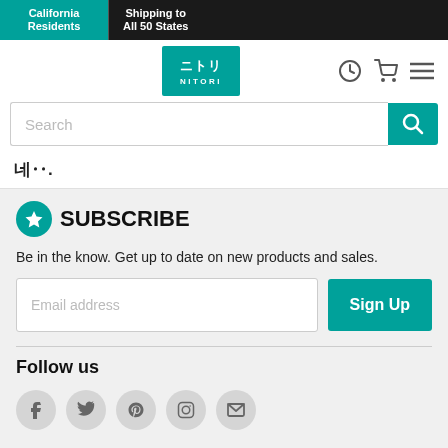California Residents | Shipping to All 50 States
[Figure (logo): Nitori logo — teal square with Japanese katakana and NITORI text in white]
Search
SUBSCRIBE
Be in the know.  Get up to date on new products and sales.
Email address
Sign Up
Follow us